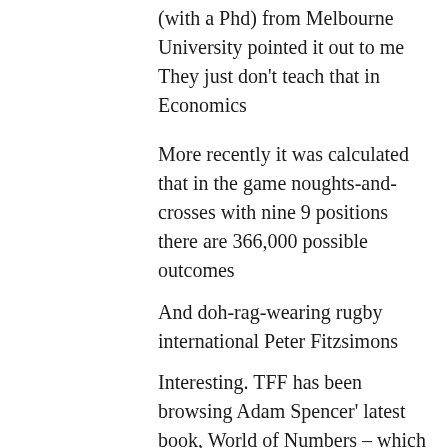(with a Phd) from Melbourne University pointed it out to me They just don't teach that in Economics
More recently it was calculated that in the game noughts-and-crosses with nine 9 positions there are 366,000 possible outcomes
And doh-rag-wearing rugby international Peter Fitzsimons
Interesting. TFF has been browsing Adam Spencer' latest book, World of Numbers – which is sort of mathematical quirks and concepts, explained by a geek who can also write bloody well. The one that